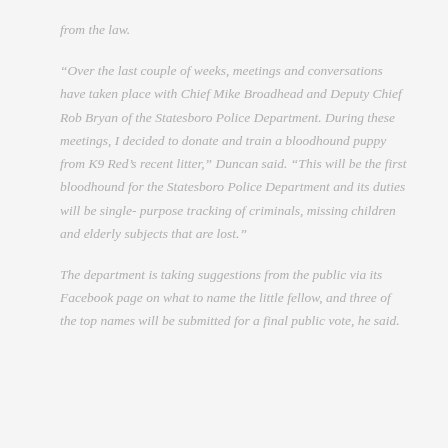from the law.
“Over the last couple of weeks, meetings and conversations have taken place with Chief Mike Broadhead and Deputy Chief Rob Bryan of the Statesboro Police Department. During these meetings, I decided to donate and train a bloodhound puppy from K9 Red’s recent litter,” Duncan said. “This will be the first bloodhound for the Statesboro Police Department and its duties will be single- purpose tracking of criminals, missing children and elderly subjects that are lost.”
The department is taking suggestions from the public via its Facebook page on what to name the little fellow, and three of the top names will be submitted for a final public vote, he said.